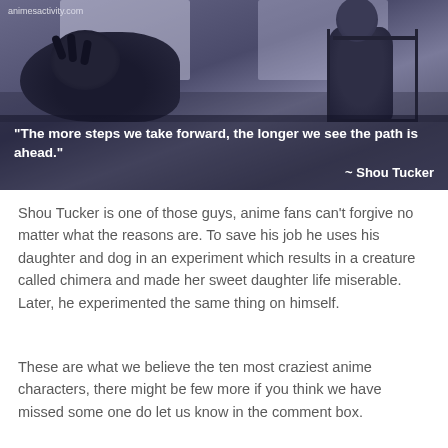[Figure (illustration): Anime scene showing a prostrated figure on the left and a seated figure on the right, in a dark purple-blue toned room with windows. Website watermark 'animesactivity.com' visible in top left. Overlay quote text at the bottom of the image.]
"The more steps we take forward, the longer we see the path is ahead." ~ Shou Tucker
Shou Tucker is one of those guys, anime fans can't forgive no matter what the reasons are. To save his job he uses his daughter and dog in an experiment which results in a creature called chimera and made her sweet daughter life miserable. Later, he experimented the same thing on himself.
These are what we believe the ten most craziest anime characters, there might be few more if you think we have missed some one do let us know in the comment box.